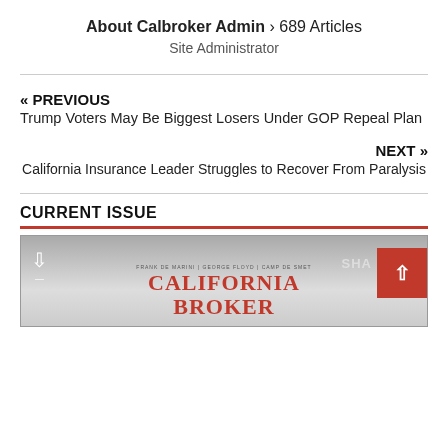About Calbroker Admin › 689 Articles
Site Administrator
« PREVIOUS
Trump Voters May Be Biggest Losers Under GOP Repeal Plan
NEXT »
California Insurance Leader Struggles to Recover From Paralysis
CURRENT ISSUE
[Figure (photo): Magazine preview thumbnail showing California Broker magazine cover, with download icon on left, SHARE text, and a red back-to-top button on the right. The magazine title 'CALIFORNIA BROKER' is visible in red serif font.]